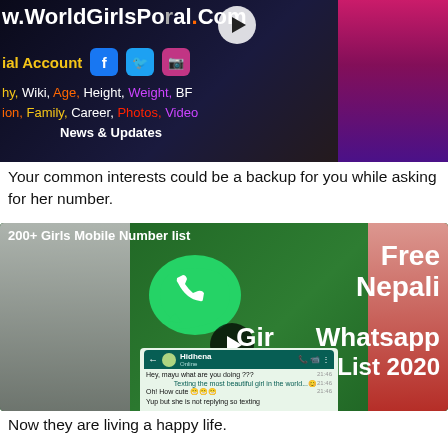[Figure (screenshot): Website banner for WorldGirlsPortal.com showing social media icons, tags like Wiki, Age, Height, Weight, BF, Family, Career, Photos, Videos, News & Updates, and a girl photo on the right]
Your common interests could be a backup for you while asking for her number.
[Figure (screenshot): Video thumbnail: 200+ Girls Mobile Number list - Free Nepali Girls Whatsapp List 2020, featuring WhatsApp logo, two girls, a play button, and a WhatsApp chat screenshot with Hidhena]
Now they are living a happy life.